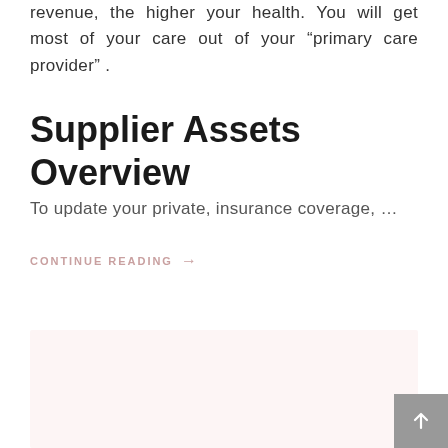revenue, the higher your health. You will get most of your care out of your “primary care provider” .
Supplier Assets Overview
To update your private, insurance coverage, …
CONTINUE READING →
[Figure (other): Light pink/beige colored rectangular box at the bottom of the page, serving as a content preview or placeholder section. A gray scroll-to-top button with an upward arrow is positioned at the bottom-right corner.]